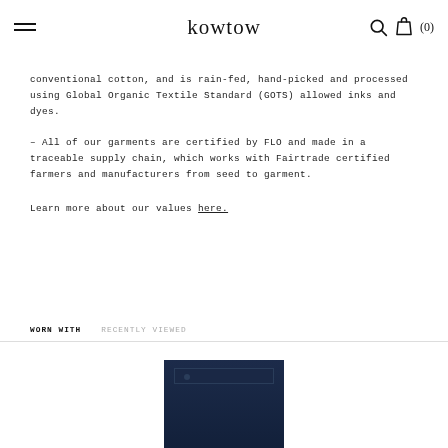kowtow
conventional cotton, and is rain-fed, hand-picked and processed using Global Organic Textile Standard (GOTS) allowed inks and dyes.
– All of our garments are certified by FLO and made in a traceable supply chain, which works with Fairtrade certified farmers and manufacturers from seed to garment.
Learn more about our values here.
WORN WITH    RECENTLY VIEWED
[Figure (photo): Dark navy/indigo garment (appears to be jeans or skirt) shown from waist down, partially cropped at bottom of page]